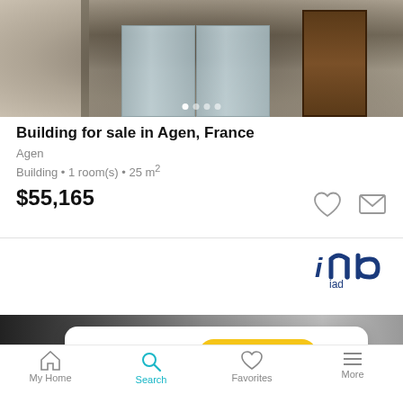[Figure (photo): Property photo showing a stone building entrance with glass revolving doors and a wooden door on the right, with carousel navigation dots]
Building for sale in Agen, France
Agen
Building • 1 room(s) • 25 m²
$55,165
[Figure (logo): IAD real estate agency logo in dark blue]
[Figure (photo): Partial photo of a retail/shop interior]
Want to get updates?  Save search
My Home
Search
Favorites
More